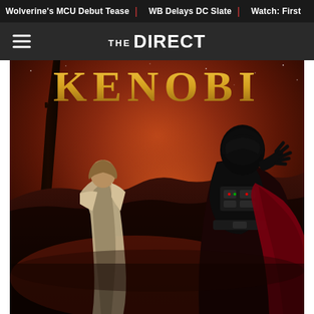Wolverine's MCU Debut Tease | WB Delays DC Slate | Watch: First
[Figure (logo): The Direct logo with hamburger menu icon on dark gray navigation bar]
[Figure (illustration): Obi-Wan Kenobi Disney+ series promotional artwork showing a cloaked figure (Obi-Wan) from behind facing Darth Vader against a dramatic red sunset sky with a dark tower in the background. Title text 'KENOBI' visible at top in gold letters.]